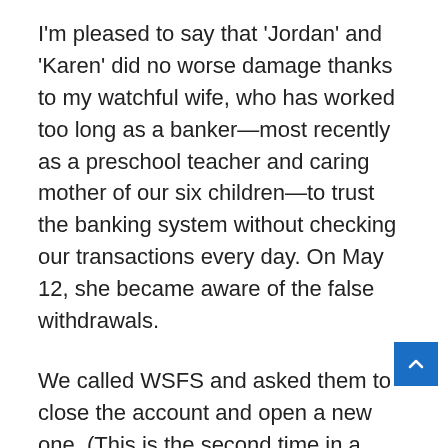I'm pleased to say that 'Jordan' and 'Karen' did no worse damage thanks to my watchful wife, who has worked too long as a banker—most recently as a preschool teacher and caring mother of our six children—to trust the banking system without checking our transactions every day. On May 12, she became aware of the false withdrawals.
We called WSFS and asked them to close the account and open a new one. (This is the second time in a year: Branch workers alerted a Pennsylvania man posing as me at a Chester County WSFS branch last fall. Arrested by East Whiteland police, jumped bail , and has since been arrested again on charges of attempted identity theft and forgery).
How did these last thieves get it? They had a copy of my check, with the correct account number.
They stole my name and address and added other personal